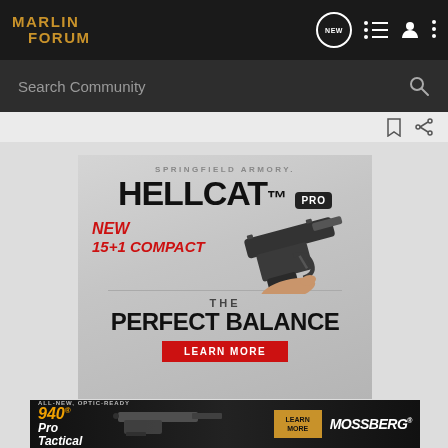MARLIN FORUM
Search Community
[Figure (screenshot): Springfield Armory Hellcat Pro advertisement. Gray gradient background with large text reading 'SPRINGFIELD ARMORY.' at top, then 'HELLCAT PRO' in large bold font, then 'NEW 15+1 COMPACT' in red italic text, a photo of someone holding a compact pistol, then 'THE PERFECT BALANCE' in large bold text, and a red 'LEARN MORE' button.]
[Figure (screenshot): Mossberg 940 Pro Tactical advertisement. Dark background with image of a shotgun, text 'ALL-NEW, OPTIC-READY 940 Pro Tactical' in yellow/white, 'LEARN MORE' button in gold, and 'MOSSBERG' brand name in white.]